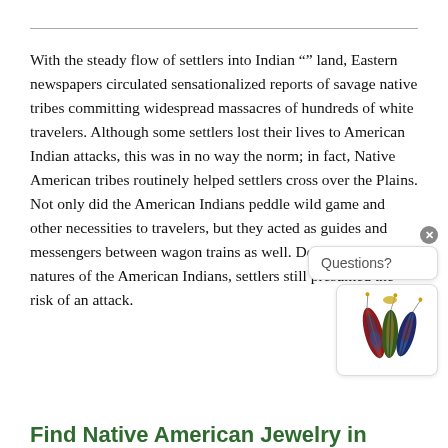With the steady flow of settlers into Indian "" land, Eastern newspapers circulated sensationalized reports of savage native tribes committing widespread massacres of hundreds of white travelers. Although some settlers lost their lives to American Indian attacks, this was in no way the norm; in fact, Native American tribes routinely helped settlers cross over the Plains. Not only did the American Indians peddle wild game and other necessities to travelers, but they acted as guides and messengers between wagon trains as well. Despite the good natures of the American Indians, settlers still presumed the risk of an attack.
[Figure (illustration): A chat widget showing a 'Questions?' bubble and a decorative feather illustration icon below it, with a close (x) button.]
Find Native American Jewelry in